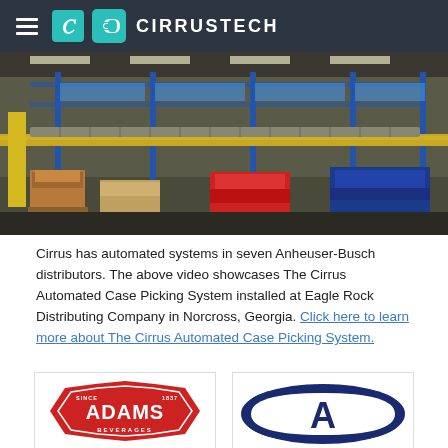CIRRUSTECH
[Figure (photo): Warehouse interior showing automated conveyor systems and sorting equipment with stacked beverage cases in blue and red packaging. Metal shelving racks and conveyor belts visible.]
Cirrus has automated systems in seven Anheuser-Busch distributors. The above video showcases The Cirrus Automated Case Picking System installed at Eagle Rock Distributing Company in Norcross, Georgia. Click here to learn more about The Cirrus Automated Case Picking System.
[Figure (logo): Adams Beverages logo — red star/shield shape with white text reading SINCE 1837 ADAMS BEVERAGES]
[Figure (logo): Advantage logo — dark blue oval with large letter A and text ADVANTAGE]